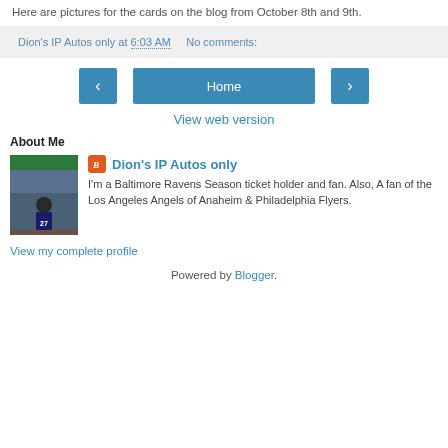Here are pictures for the cards on the blog from October 8th and 9th.
Dion's IP Autos only at 6:03 AM   No comments:
‹   Home   ›
View web version
About Me
[Figure (photo): Profile photo of a person at a stadium wearing jersey #27]
Dion's IP Autos only
I'm a Baltimore Ravens Season ticket holder and fan. Also, A fan of the Los Angeles Angels of Anaheim & Philadelphia Flyers.
View my complete profile
Powered by Blogger.